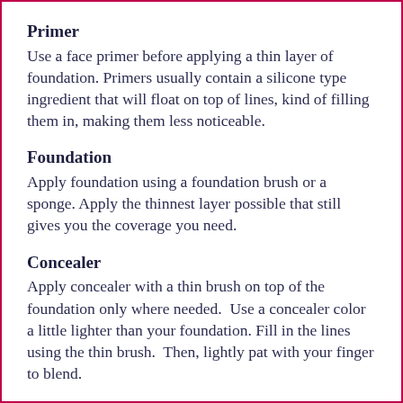Primer
Use a face primer before applying a thin layer of foundation. Primers usually contain a silicone type ingredient that will float on top of lines, kind of filling them in, making them less noticeable.
Foundation
Apply foundation using a foundation brush or a sponge. Apply the thinnest layer possible that still gives you the coverage you need.
Concealer
Apply concealer with a thin brush on top of the foundation only where needed.  Use a concealer color a little lighter than your foundation. Fill in the lines using the thin brush.  Then, lightly pat with your finger to blend.
Using too much makeup will settle in the lines and